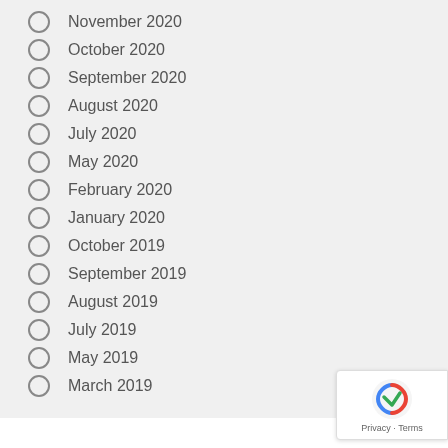November 2020
October 2020
September 2020
August 2020
July 2020
May 2020
February 2020
January 2020
October 2019
September 2019
August 2019
July 2019
May 2019
March 2019
META